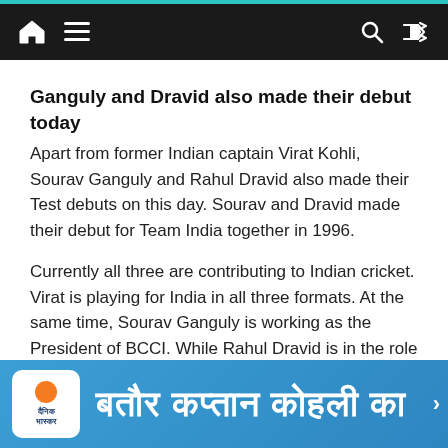Navigation bar with home icon, menu icon, search icon, shuffle icon
Ganguly and Dravid also made their debut today
Apart from former Indian captain Virat Kohli, Sourav Ganguly and Rahul Dravid also made their Test debuts on this day. Sourav and Dravid made their debut for Team India together in 1996.
Currently all three are contributing to Indian cricket. Virat is playing for India in all three formats. At the same time, Sourav Ganguly is working as the President of BCCI. While Rahul Dravid is in the role of the coach of the team.
[Figure (screenshot): Blue banner with Dainik Bhaskar logo and Hindi text reading 'बतौर कप्तान कोहली का']